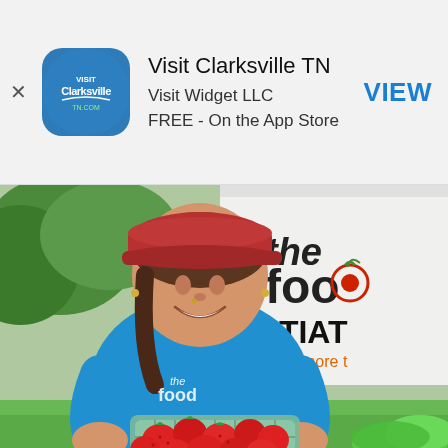[Figure (screenshot): App Store advertisement banner for 'Visit Clarksville TN' app by Visit Widget LLC. Shows app icon (blue circle with Visit Clarksville TN.com logo), app name, developer, price (FREE - On the App Store), and a VIEW button in blue.]
Visit Clarksville TN
Visit Widget LLC
FREE - On the App Store
VIEW
[Figure (photo): Photograph of a smiling young woman wearing a red baseball cap and a blue t-shirt with 'the food' logo. She is holding a green cardboard container of fresh red strawberries. Behind her is a white tent/banner with text reading 'the foo... INITIAT... Growing more t...' and green grass/bushes in the background. Some lettuce greens are visible in the bottom right corner.]